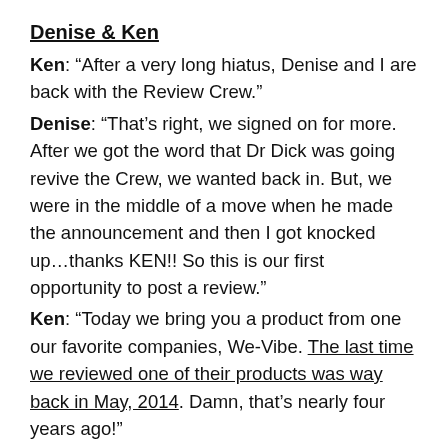Denise & Ken
Ken: “After a very long hiatus, Denise and I are back with the Review Crew.”
Denise: “That’s right, we signed on for more. After we got the word that Dr Dick was going revive the Crew, we wanted back in. But, we were in the middle of a move when he made the announcement and then I got knocked up…thanks KEN!! So this is our first opportunity to post a review.”
Ken: “Today we bring you a product from one our favorite companies, We-Vibe. The last time we reviewed one of their products was way back in May, 2014. Damn, that’s nearly four years ago!”
Denise: “Yep, here is Pivot by We-Vibe. As you can probably tell from just looking at it, it’s a vibrating cockring. These things are all the rage these days. I think the Review Crew has reviewed at least four if not more of these things over the years. If you know